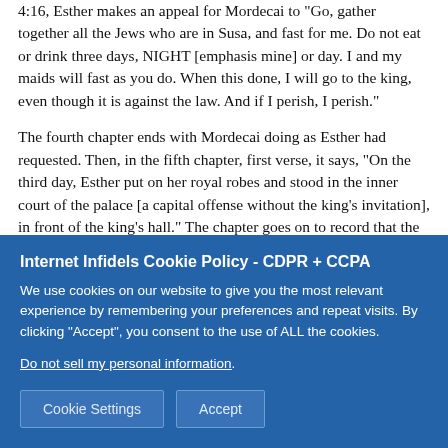4:16, Esther makes an appeal for Mordecai to "Go, gather together all the Jews who are in Susa, and fast for me. Do not eat or drink three days, NIGHT [emphasis mine] or day. I and my maids will fast as you do. When this done, I will go to the king, even though it is against the law. And if I perish, I perish."
The fourth chapter ends with Mordecai doing as Esther had requested. Then, in the fifth chapter, first verse, it says, "On the third day, Esther put on her royal robes and stood in the inner court of the palace [a capital offense without the king's invitation], in front of the king's hall." The chapter goes on to record that the king was pleased by Esther's appearance and allowed Esther to approach him. Esther requested the King and Hamaan (an opponent of the Jews) to appear at a banquet she had prepared for the day of the...
Internet Infidels Cookie Policy - CDPR + CCPA
We use cookies on our website to give you the most relevant experience by remembering your preferences and repeat visits. By clicking "Accept", you consent to the use of ALL the cookies.
Do not sell my personal information.
Cookie Settings   Accept